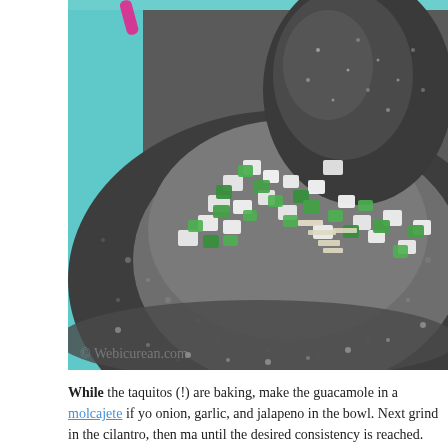[Figure (photo): A stone molcajete (mortar and pestle) filled with chopped white onion, green jalapeño peppers, and garlic, placed on a light blue surface. A pink item is visible at the top left corner. Watermark reads '© Webicurean.com' at the bottom left.]
While the taquitos (!) are baking, make the guacamole in a molcajete if yo onion, garlic, and jalapeno in the bowl. Next grind in the cilantro, then ma until the desired consistency is reached.